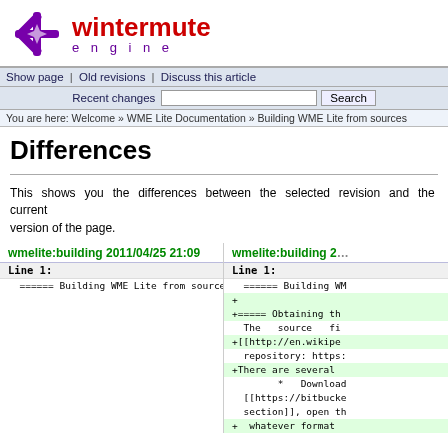[Figure (logo): Wintermute Engine logo: purple snowflake/star icon on left, red bold 'wintermute' text with purple 'engine' subtitle in spaced lettering]
Show page | Old revisions | Discuss this article
Recent changes  [search box]  Search
You are here: Welcome » WME Lite Documentation » Building WME Lite from sources
Differences
This shows you the differences between the selected revision and the current version of the page.
wmelite:building 2011/04/25 21:09
Line 1:
  ====== Building WME Lite from sources ======
wmelite:building 2...
Line 1:
  ====== Building WM
+
+===== Obtaining th
  The  source  fi
+[[http://en.wikipe  repository: https:
+There are several
       *   Download
  [[https://bitbucke  section]], open th
+  whatever format